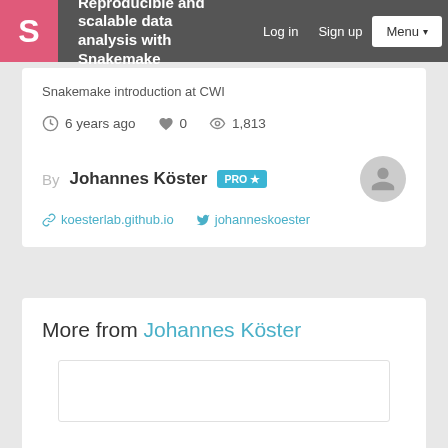Reproducible and scalable data analysis with Snakemake
Snakemake introduction at CWI
6 years ago  ♥ 0  👁 1,813
By Johannes Köster PRO ★
koesterlab.github.io  johanneskoester
More from Johannes Köster